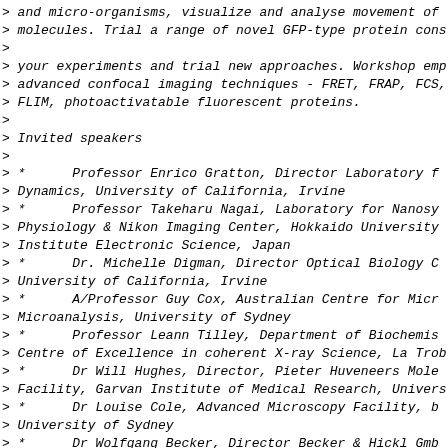> and micro-organisms, visualize and analyse movement of
> molecules. Trial a range of novel GFP-type protein cons
>
> your experiments and trial new approaches. Workshop emp
> advanced confocal imaging techniques - FRET, FRAP, FCS,
> FLIM, photoactivatable fluorescent proteins.
>
> Invited speakers
>
> *      Professor Enrico Gratton, Director Laboratory f
> Dynamics, University of California, Irvine
> *      Professor Takeharu Nagai, Laboratory for Nanosy
> Physiology & Nikon Imaging Center, Hokkaido University
> Institute Electronic Science, Japan
> *      Dr. Michelle Digman, Director Optical Biology C
> University of California, Irvine
> *      A/Professor Guy Cox, Australian Centre for Micr
> Microanalysis, University of Sydney
> *      Professor Leann Tilley, Department of Biochemis
> Centre of Excellence in coherent X-ray Science, La Trob
> *      Dr Will Hughes, Director, Pieter Huveneers Mole
> Facility, Garvan Institute of Medical Research, Univers
> *      Dr Louise Cole, Advanced Microscopy Facility, b
> University of Sydney
> *      Dr Wolfgang Becker, Director Becker & Hickl Gmb
>
> Training sessions cover the following:
>
> Multi-colour Fluorescent proteins
> Genetically encodable GFP-type proteins (EGFP, YFP, CFP